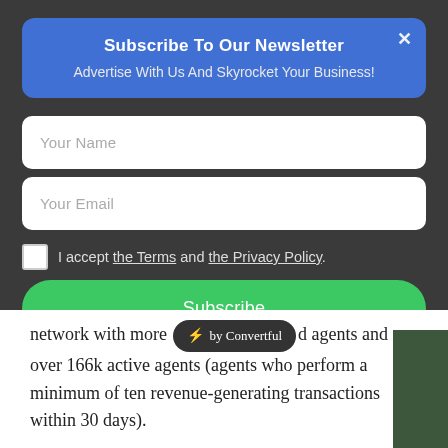Subscribe To Our Newsletter
Advertise With Us And Skyrocket Your Business!
Your Name
Your Email
I accept the Terms and the Privacy Policy.
Subscribe
network with more ⚡ by Convertful d agents and over 166k active agents (agents who perform a minimum of ten revenue-generating transactions within 30 days).
“Having established a significant foundation of registered agent network, we are now focusing on scaling the ac base. We have expanded our agent services to include